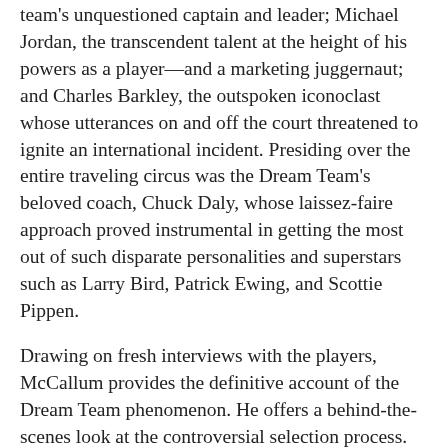team's unquestioned captain and leader; Michael Jordan, the transcendent talent at the height of his powers as a player—and a marketing juggernaut; and Charles Barkley, the outspoken iconoclast whose utterances on and off the court threatened to ignite an international incident. Presiding over the entire traveling circus was the Dream Team's beloved coach, Chuck Daly, whose laissez-faire approach proved instrumental in getting the most out of such disparate personalities and superstars such as Larry Bird, Patrick Ewing, and Scottie Pippen.
Drawing on fresh interviews with the players, McCallum provides the definitive account of the Dream Team phenomenon. He offers a behind-the-scenes look at the controversial selection process. He takes us inside the team's Olympic suites for late-night card games and bull sessions where the players debate both the finer points of basketball and their respective places in the NBA pantheon. And he narrates a riveting possession-